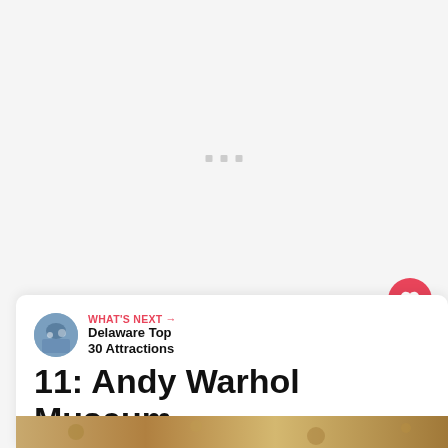[Figure (screenshot): Light gray background with three small gray loading indicator squares/dots centered near the top-middle area]
[Figure (illustration): Red circular heart/favorite button icon on the right side]
80
[Figure (illustration): White circular share button with share icon]
11: Andy Warhol Museum
WHAT'S NEXT → Delaware Top 30 Attractions
[Figure (photo): Partial bottom photo showing what appears to be a textured golden/brown surface]